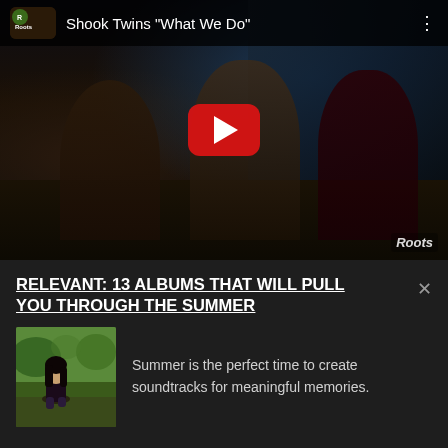[Figure (screenshot): YouTube video thumbnail for Shook Twins 'What We Do' showing three musicians performing on a dimly lit stage. A YouTube play button is overlaid in the center. The video bar at top shows the Roots logo and the video title. A 'Roots' watermark appears at bottom right.]
RELEVANT: 13 ALBUMS THAT WILL PULL YOU THROUGH THE SUMMER
[Figure (photo): Small album art thumbnail showing a person seated outdoors in a green natural setting.]
Summer is the perfect time to create soundtracks for meaningful memories.